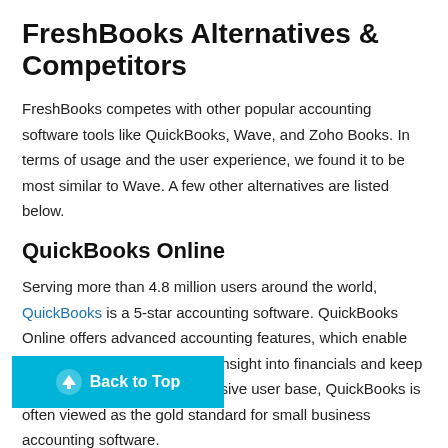FreshBooks Alternatives & Competitors
FreshBooks competes with other popular accounting software tools like QuickBooks, Wave, and Zoho Books. In terms of usage and the user experience, we found it to be most similar to Wave. A few other alternatives are listed below.
QuickBooks Online
Serving more than 4.8 million users around the world, QuickBooks is a 5-star accounting software. QuickBooks Online offers advanced accounting features, which enable users to easily gain excellent insight into financials and keep data organized. Given its massive user base, QuickBooks is often viewed as the gold standard for small business accounting software.
Wave
Wave is a popular freemium accounting software with a clean, intuitive, and easy-to-use backend. The free plan includes accounting, invoicing